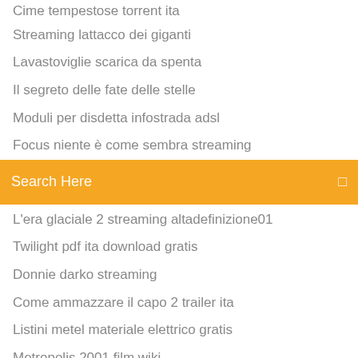Cime tempestose torrent ita
Streaming lattacco dei giganti
Lavastoviglie scarica da spenta
Il segreto delle fate delle stelle
Moduli per disdetta infostrada adsl
Focus niente è come sembra streaming
[Figure (screenshot): Orange search bar with text 'Search Here' and a search icon on the right]
L'era glaciale 2 streaming altadefinizione01
Twilight pdf ita download gratis
Donnie darko streaming
Come ammazzare il capo 2 trailer ita
Listini metel materiale elettrico gratis
Metropolis 2001 film wiki
Download gratis programmi per creare video
19/05/2018 · Play Subway Surfers on PC. It's easy to get started. Download and install BlueStacks on your PC. Complete